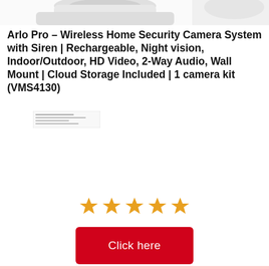[Figure (photo): Partial product image of Arlo Pro wireless camera system at top of page, cropped]
Arlo Pro – Wireless Home Security Camera System with Siren | Rechargeable, Night vision, Indoor/Outdoor, HD Video, 2-Way Audio, Wall Mount | Cloud Storage Included | 1 camera kit (VMS4130)
[Figure (other): Small thumbnail image with horizontal lines, appears to be a document or spec sheet thumbnail]
[Figure (other): Five gold stars rating display]
Click here